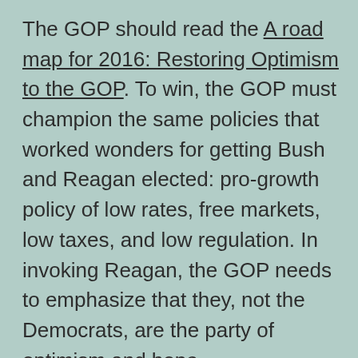The GOP should read the A road map for 2016: Restoring Optimism to the GOP. To win, the GOP must champion the same policies that worked wonders for getting Bush and Reagan elected: pro-growth policy of low rates, free markets, low taxes, and low regulation. In invoking Reagan, the GOP needs to emphasize that they, not the Democrats, are the party of optimism and hope. Second, let's hope there is a super-spike in unemployment before the election in order to doom the prospects for the dems. The stock market would actually surge under such